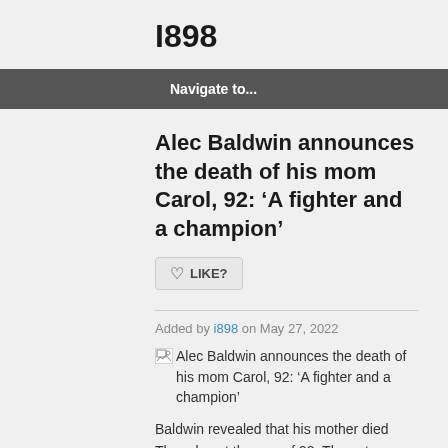I898
Navigate to...
Alec Baldwin announces the death of his mom Carol, 92: ‘A fighter and a champion’
LIKE?
Added by i898 on May 27, 2022
[Figure (photo): Broken image placeholder with alt text: Alec Baldwin announces the death of his mom Carol, 92: ‘A fighter and a champion’]
Baldwin revealed that his mother died Thursday at the age of 92. The actor wrote, “Carol M. Baldwin, mother of actors Alec, Daniel, William and Stephen Baldwin and two daughters, Elizabeth and Jane, died today in Syracuse, New York.”